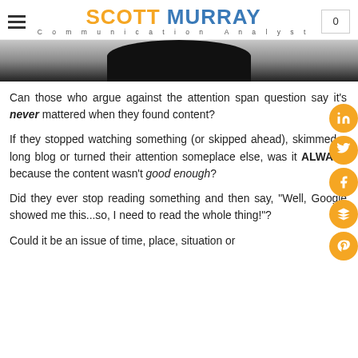SCOTT MURRAY Communication Analyst
[Figure (photo): Partial image of a dark object against a grey background, cropped at top]
Can those who argue against the attention span question say it's never mattered when they found content?
If they stopped watching something (or skipped ahead), skimmed a long blog or turned their attention someplace else, was it ALWAYS because the content wasn't good enough?
Did they ever stop reading something and then say, "Well, Google showed me this...so, I need to read the whole thing!"?
Could it be an issue of time, place, situation or